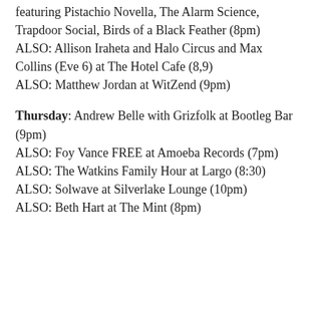featuring Pistachio Novella, The Alarm Science, Trapdoor Social, Birds of a Black Feather (8pm)
ALSO: Allison Iraheta and Halo Circus and Max Collins (Eve 6) at The Hotel Cafe (8,9)
ALSO: Matthew Jordan at WitZend (9pm)
Thursday: Andrew Belle with Grizfolk at Bootleg Bar (9pm)
ALSO: Foy Vance FREE at Amoeba Records (7pm)
ALSO: The Watkins Family Hour at Largo (8:30)
ALSO: Solwave at Silverlake Lounge (10pm)
ALSO: Beth Hart at The Mint (8pm)